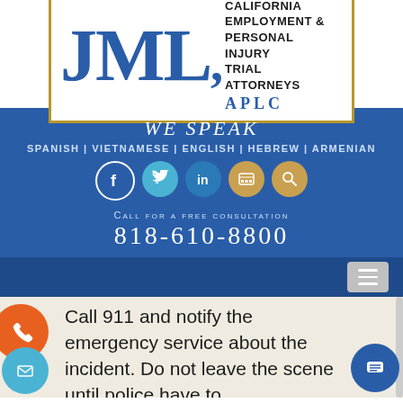[Figure (logo): JML APLC law firm logo — large blue serif JML letters with comma, bordered by a gold/brown rectangle. Text: CALIFORNIA EMPLOYMENT & PERSONAL INJURY TRIAL ATTORNEYS, APLC]
WE SPEAK
SPANISH | VIETNAMESE | ENGLISH | HEBREW | ARMENIAN
[Figure (other): Five circular social media icons: Facebook (blue), Twitter (teal), LinkedIn (blue), YouTube/video (gold), Search (gold)]
CALL FOR A FREE CONSULTATION
818-610-8800
[Figure (other): Navigation hamburger menu button (three horizontal lines) on dark blue bar]
Call 911 and notify the emergency service about the incident. Do not leave the scene until police have to